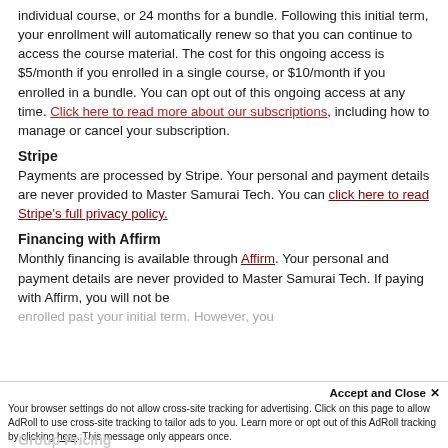individual course, or 24 months for a bundle. Following this initial term, your enrollment will automatically renew so that you can continue to access the course material. The cost for this ongoing access is $5/month if you enrolled in a single course, or $10/month if you enrolled in a bundle. You can opt out of this ongoing access at any time. Click here to read more about our subscriptions, including how to manage or cancel your subscription.
Stripe
Payments are processed by Stripe. Your personal and payment details are never provided to Master Samurai Tech. You can click here to read Stripe's full privacy policy.
Financing with Affirm
Monthly financing is available through Affirm. Your personal and payment details are never provided to Master Samurai Tech. If paying with Affirm, you will not be enrolled past your initial term. However, you
Accept and Close ×
Your browser settings do not allow cross-site tracking for advertising. Click on this page to allow AdRoll to use cross-site tracking to tailor ads to you. Learn more or opt out of this AdRoll tracking by clicking here. This message only appears once.
Group Pricing